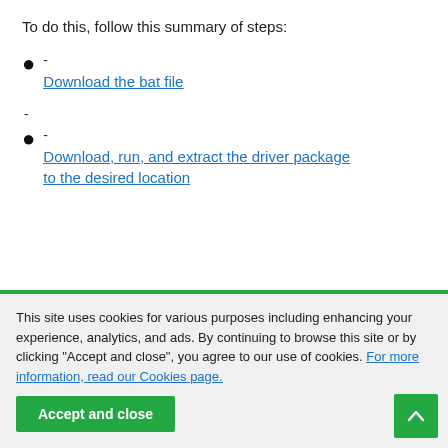To do this, follow this summary of steps:
- Download the bat file
- Download, run, and extract the driver package to the desired location
This site uses cookies for various purposes including enhancing your experience, analytics, and ads. By continuing to browse this site or by clicking "Accept and close", you agree to our use of cookies. For more information, read our Cookies page.